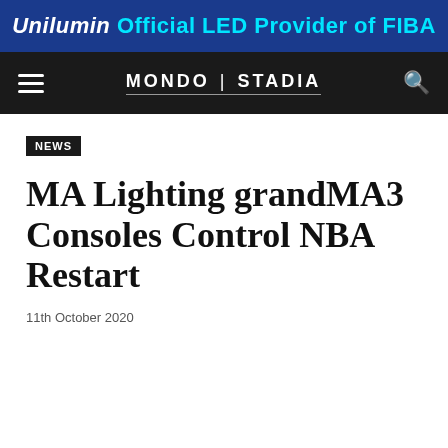[Figure (logo): Unilumin advertisement banner: blue background with white italic bold text 'Unilumin' and cyan text 'Official LED Provider of FIBA']
MONDO | STADIA
NEWS
MA Lighting grandMA3 Consoles Control NBA Restart
11th October 2020